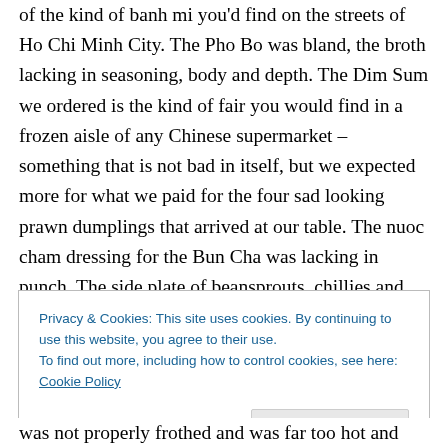of the kind of banh mi you'd find on the streets of Ho Chi Minh City. The Pho Bo was bland, the broth lacking in seasoning, body and depth. The Dim Sum we ordered is the kind of fair you would find in a frozen aisle of any Chinese supermarket – something that is not bad in itself, but we expected more for what we paid for the four sad looking prawn dumplings that arrived at our table. The nuoc cham dressing for the Bun Cha was lacking in punch. The side plate of beansprouts, chillies and herbs to accompany
Privacy & Cookies: This site uses cookies. By continuing to use this website, you agree to their use.
To find out more, including how to control cookies, see here: Cookie Policy
was not properly frothed and was far too hot and